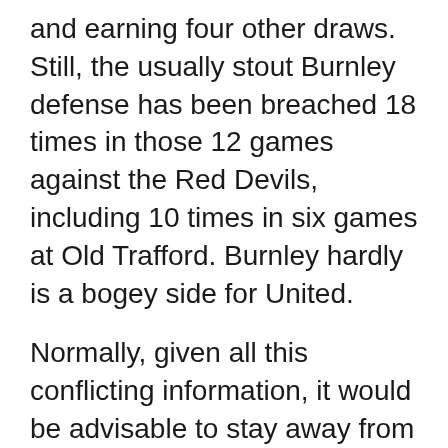and earning four other draws. Still, the usually stout Burnley defense has been breached 18 times in those 12 games against the Red Devils, including 10 times in six games at Old Trafford. Burnley hardly is a bogey side for United.
Normally, given all this conflicting information, it would be advisable to stay away from this game entirely. However, if you're intent on making a pick, taking the under could prove the best strategy for a match between two teams that are far from convincing.
Pick: Under 2.5 goals (+120)
Prediction: Manchester United 1-0 Burnley